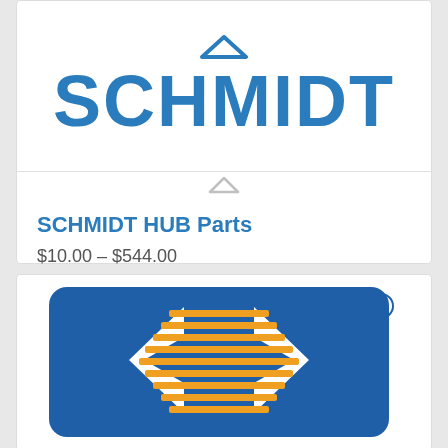[Figure (logo): SCHMIDT brand logo in bold blue text]
SCHMIDT HUB Parts
$10.00 – $544.00
Select options
[Figure (logo): Blue and orange arrow/chevron logo with registered trademark symbol]